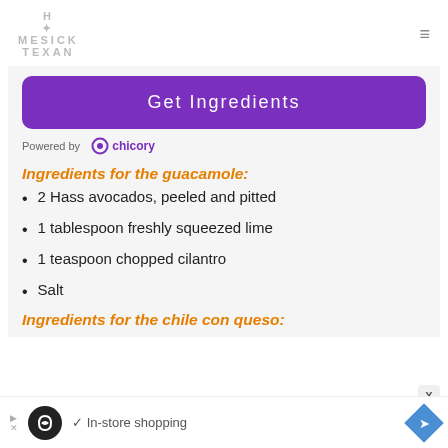HOMESICK TEXAN
[Figure (logo): Homesick Texan logo with star icon and hamburger menu icon on the right]
[Figure (other): Get Ingredients button (purple rounded rectangle) powered by chicory logo]
Ingredients for the guacamole:
2 Hass avocados, peeled and pitted
1 tablespoon freshly squeezed lime
1 teaspoon chopped cilantro
Salt
Ingredients for the chile con queso:
[Figure (other): Advertisement bar: In-store shopping with navigation icon]